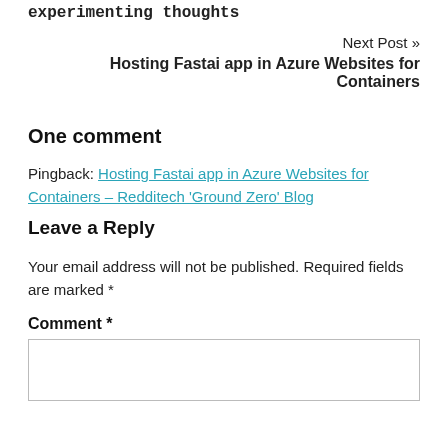experimenting thoughts
Next Post »
Hosting Fastai app in Azure Websites for Containers
One comment
Pingback: Hosting Fastai app in Azure Websites for Containers – Redditech 'Ground Zero' Blog
Leave a Reply
Your email address will not be published. Required fields are marked *
Comment *